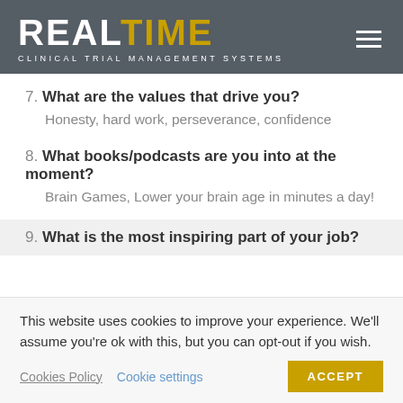REALTIME CLINICAL TRIAL MANAGEMENT SYSTEMS
7. What are the values that drive you?
Honesty, hard work, perseverance, confidence
8. What books/podcasts are you into at the moment?
Brain Games, Lower your brain age in minutes a day!
9. What is the most inspiring part of your job?
This website uses cookies to improve your experience. We'll assume you're ok with this, but you can opt-out if you wish.
Cookies Policy | Cookie settings | ACCEPT